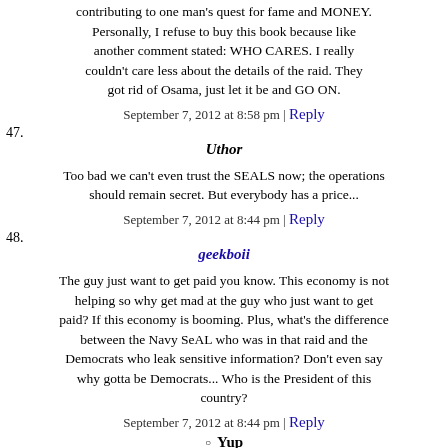contributing to one man's quest for fame and MONEY. Personally, I refuse to buy this book because like another comment stated: WHO CARES. I really couldn't care less about the details of the raid. They got rid of Osama, just let it be and GO ON.
September 7, 2012 at 8:58 pm | Reply
47. Uthor
Too bad we can't even trust the SEALS now; the operations should remain secret. But everybody has a price...
September 7, 2012 at 8:44 pm | Reply
48. geekboii
The guy just want to get paid you know. This economy is not helping so why get mad at the guy who just want to get paid? If this economy is booming. Plus, what's the difference between the Navy SeAL who was in that raid and the Democrats who leak sensitive information? Don't even say why gotta be Democrats... Who is the President of this country?
September 7, 2012 at 8:44 pm | Reply
Yup